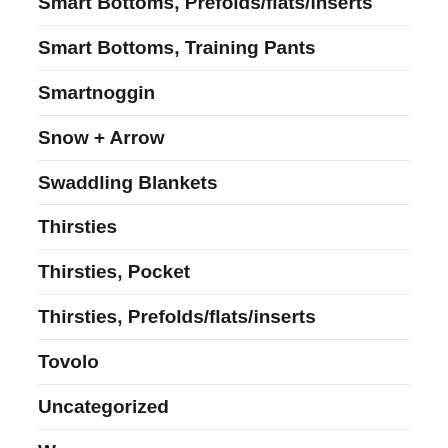Smart Bottoms, Prefolds/flats/inserts
Smart Bottoms, Training Pants
Smartnoggin
Snow + Arrow
Swaddling Blankets
Thirsties
Thirsties, Pocket
Thirsties, Prefolds/flats/inserts
Tovolo
Uncategorized
Women
Zoli